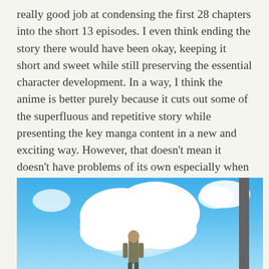really good job at condensing the first 28 chapters into the short 13 episodes. I even think ending the story there would have been okay, keeping it short and sweet while still preserving the essential character development. In a way, I think the anime is better purely because it cuts out some of the superfluous and repetitive story while presenting the key manga content in a new and exciting way. However, that doesn't mean it doesn't have problems of its own especially when it comes to the ending.
[Figure (photo): Anime screenshot showing a character viewed from behind standing against a bright blue sky with large white cumulus clouds and a dark vertical pole or pillar on the right side.]